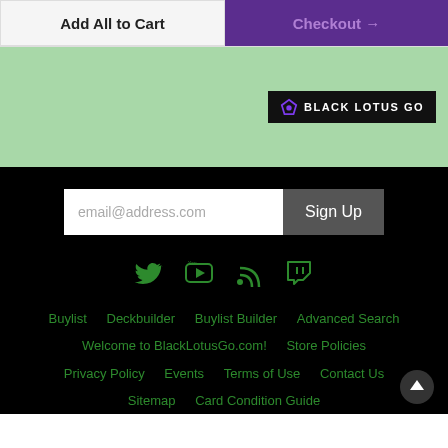Add All to Cart
Checkout →
[Figure (logo): Black Lotus Go logo on dark background]
email@address.com
Sign Up
[Figure (infographic): Social media icons: Twitter, YouTube, RSS, Twitch in green]
Buylist   Deckbuilder   Buylist Builder   Advanced Search   Welcome to BlackLotusGo.com!   Store Policies   Privacy Policy   Events   Terms of Use   Contact Us   Sitemap   Card Condition Guide